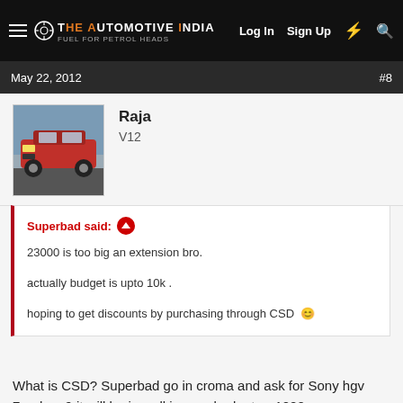THE AUTOMOTIVE INDIA | Log In  Sign Up
May 22, 2012   #8
Raja
V12
Superbad said:
23000 is too big an extension bro.

actually budget is upto 10k .

hoping to get discounts by purchasing through CSD
What is CSD? Superbad go in croma and ask for Sony hgv 7 or hgv 9 it will be in well in your budget +- 1000 rs you can do 1080 hd recording too has exmor lens brilliant results superb colour production and good range of zoom go on YouTube and see reviews , test shots and also test video